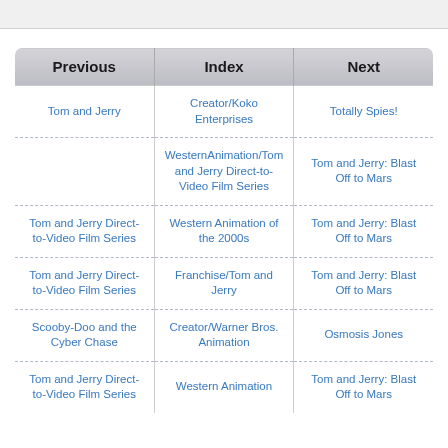| Previous | Index | Next |
| --- | --- | --- |
| Tom and Jerry | Creator/Koko Enterprises | Totally Spies! |
|  | WesternAnimation/Tom and Jerry Direct-to-Video Film Series | Tom and Jerry: Blast Off to Mars |
| Tom and Jerry Direct-to-Video Film Series | Western Animation of the 2000s | Tom and Jerry: Blast Off to Mars |
| Tom and Jerry Direct-to-Video Film Series | Franchise/Tom and Jerry | Tom and Jerry: Blast Off to Mars |
| Scooby-Doo and the Cyber Chase | Creator/Warner Bros. Animation | Osmosis Jones |
| Tom and Jerry Direct-to-Video Film Series | Western Animation | Tom and Jerry: Blast Off to Mars |